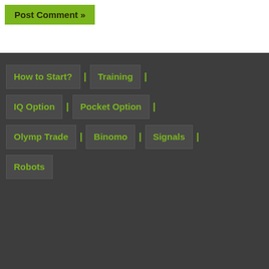Post Comment »
How to Start?
Training
IQ Option
Pocket Option
Olymp Trade
Binomo
Signals
Robots